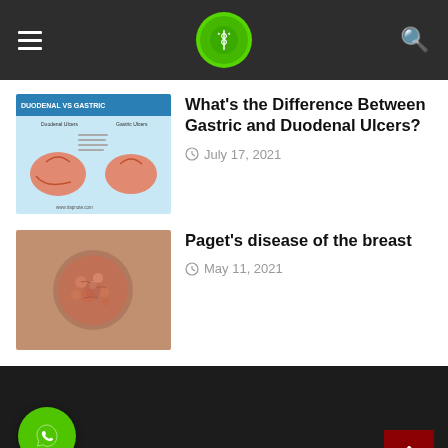Medical website header with hamburger menu, logo, and search icon
[Figure (screenshot): Thumbnail image for Duodenal vs Gastric ulcers article showing a comparison infographic with stomach anatomy]
What’s the Difference Between Gastric and Duodenal Ulcers?
July 17, 2021
[Figure (photo): Thumbnail photo showing Paget's disease of the breast skin condition]
Paget's disease of the breast
May 11, 2021
[Figure (logo): WhatsApp button (green circle with phone icon) and GetButton label]
HOME   ABOUT   CONTACT   Ts & Cs   VIDEOS